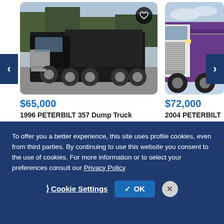[Figure (photo): Black 1996 Peterbilt 357 Dump Truck parked on gravel lot, side/front angle view]
$65,000
1996 PETERBILT 357 Dump Truck
Only Inc.
[Figure (photo): Purple/white 2004 Peterbilt truck, front/side view, partially cropped]
$72,000
2004 PETERBILT
Only Inc.
To offer you a better experience, this site uses profile cookies, even from third parties. By continuing to use this website you consent to the use of cookies. For more information or to select your preferences consult our Privacy Policy